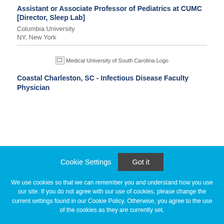Assistant or Associate Professor of Pediatrics at CUMC [Director, Sleep Lab]
Columbia University
NY, New York
[Figure (logo): Medical University of South Carolina Logo (broken image placeholder)]
Coastal Charleston, SC - Infectious Disease Faculty Physician
We use cookies so that we can remember you and understand how you use our site. If you do not agree with our use of cookies, please change the current settings found in our Cookie Policy. Otherwise, you agree to the use of the cookies as they are currently set.